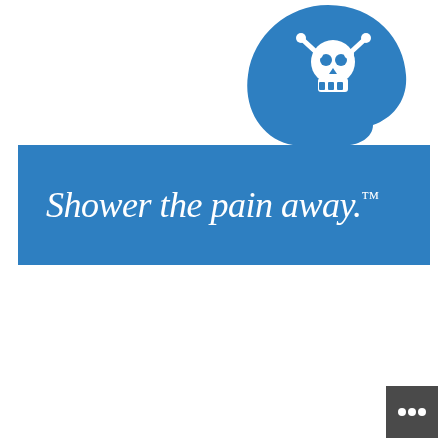[Figure (illustration): Blue silhouette of a human head profile facing right, with a skull-and-crossbones icon inside the head, representing pain or toxicity concept.]
Shower the pain away.™
[Figure (other): Small dark gray square button with three white dots (ellipsis) in the bottom-right corner.]